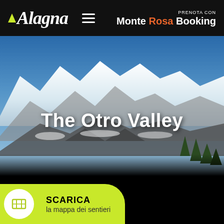Alagna | PRENOTA CON Monte Rosa Booking
[Figure (photo): Snow-covered Alpine mountain peaks with blue sky, trees in the foreground. The Otro Valley mountain scene.]
The Otro Valley
START
Alagna centre 1200 m
[Figure (other): Green rounded button with map icon circle, labelled SCARICA la mappa dei sentieri]
SCARICA la mappa dei sentieri